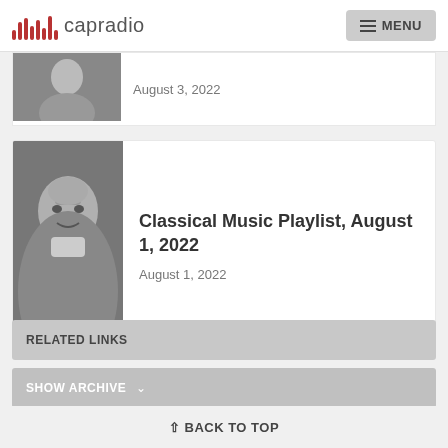capradio  MENU
[Figure (photo): Partial black and white portrait photo of a man in formal attire, partially cropped at top]
August 3, 2022
[Figure (photo): Black and white portrait photo of a man in formal suit with tie]
Classical Music Playlist, August 1, 2022
August 1, 2022
SHOW ARCHIVE
RELATED LINKS
↑ BACK TO TOP